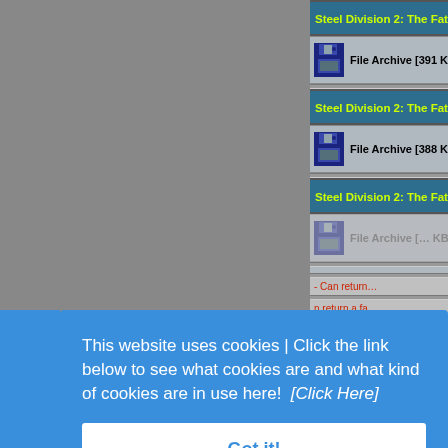Steel Division 2: The Fate of Finland v34656 [M6] Fixe...
File Archive [391 KB]
Steel Division 2: The Fate of Finland v32434 - v32807 [...
File Archive [388 KB]
Steel Division 2: The Fate of Finland v20200303 [M6] F...
File Archive [... KB]
This website uses cookies | Click the link below to see what cookies are and what kind of cookies are in use here!  [Click Here]
Got it!
File Archive [587 KB] - External Link - Can retu...
- Can return...
n return a fa...